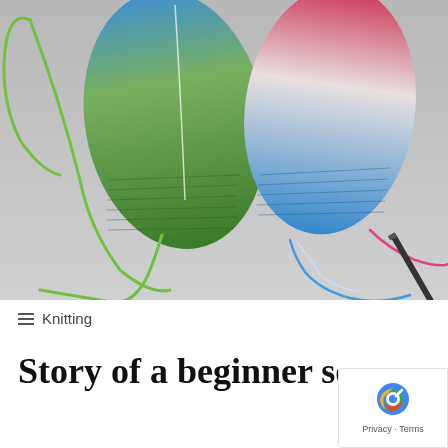[Figure (photo): Two partially knitted sock cuffs on circular knitting needles. The left sock transitions from blue at the top to green at the bottom, with a green yarn trailing down. The right sock transitions from red/pink at the top through white/gray to blue at the bottom, with pink and blue yarn trailing. A dark knitting needle is visible at the bottom right. Background is a light gray surface.]
≡ Knitting
Story of a beginner sock knit